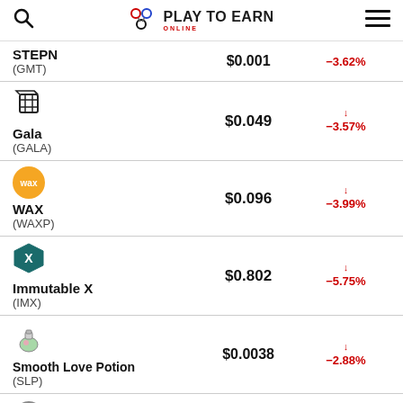PLAY TO EARN ONLINE
| Coin | Price | Change |
| --- | --- | --- |
| STEPN (GMT) | $0.001 | −3.62% |
| Gala (GALA) | $0.049 | −3.57% |
| WAX (WAXP) | $0.096 | −3.99% |
| Immutable X (IMX) | $0.802 | −5.75% |
| Smooth Love Potion (SLP) | $0.0038 | −2.88% |